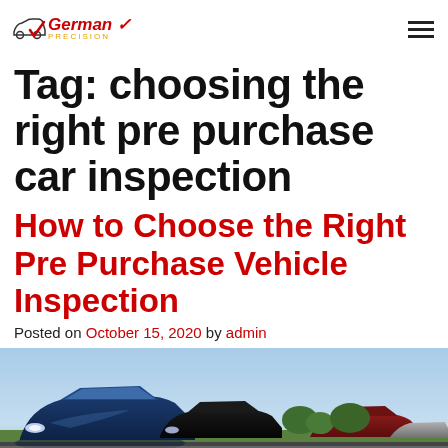German Precision [logo]
Tag: choosing the right pre purchase car inspection
How to Choose the Right Pre Purchase Vehicle Inspection
Posted on October 15, 2020 by admin
[Figure (photo): Row of cars parked in a car lot, viewed from a low angle showing their rooftops and front headlights, with a blue sky in the background.]